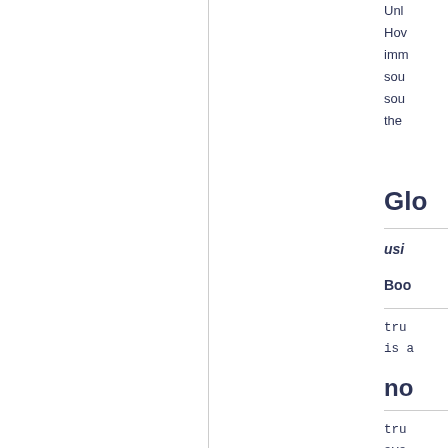Unl... How... imm... sou... sou... the...
Glo...
usi...
Boo...
tru... is a...
no...
tru... ava...